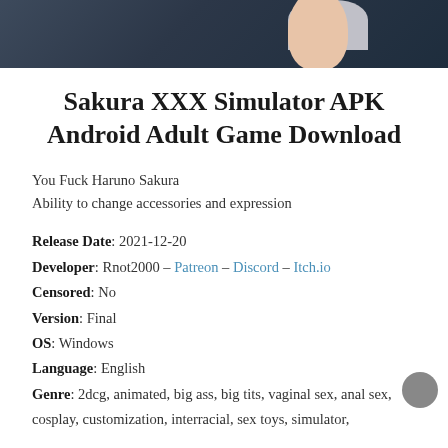[Figure (illustration): Partial anime-style illustration showing a character's upper body against a dark background]
Sakura XXX Simulator APK Android Adult Game Download
You Fuck Haruno Sakura
Ability to change accessories and expression
Release Date: 2021-12-20
Developer: Rnot2000 – Patreon – Discord – Itch.io
Censored: No
Version: Final
OS: Windows
Language: English
Genre: 2dcg, animated, big ass, big tits, vaginal sex, anal sex, cosplay, customization, interracial, sex toys, simulator,